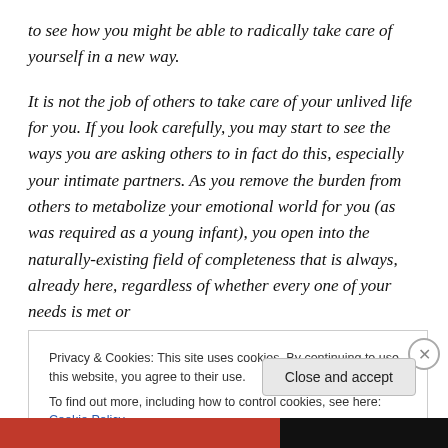to see how you might be able to radically take care of yourself in a new way.
It is not the job of others to take care of your unlived life for you. If you look carefully, you may start to see the ways you are asking others to in fact do this, especially your intimate partners. As you remove the burden from others to metabolize your emotional world for you (as was required as a young infant), you open into the naturally-existing field of completeness that is always, already here, regardless of whether every one of your needs is met or
Privacy & Cookies: This site uses cookies. By continuing to use this website, you agree to their use.
To find out more, including how to control cookies, see here: Cookie Policy
Close and accept